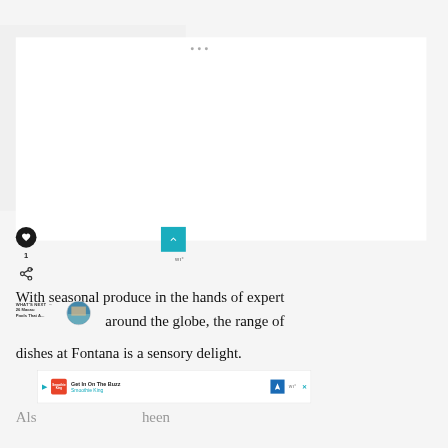[Figure (screenshot): Website screenshot showing a blog or travel article page. Contains a large white content area, social interaction buttons (heart/like and share), a teal scroll-to-top button, article text reading 'With seasonal produce in the hands of expert [chefs from] around the globe, the range of dishes at Fontana is a sensory delight.', a 'WHAT'S NEXT' sidebar with '26 Macau Pools That A...' and a circular thumbnail image, and an advertisement banner for Smoothie King at the bottom.]
With seasonal produce in the hands of expert around the globe, the range of dishes at Fontana is a sensory delight.
WHAT'S NEXT → 26 Macau Pools That A...
[Figure (screenshot): Advertisement banner: Get In On The Buzz - Smoothie King]
Als... heen